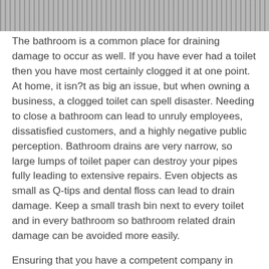[Figure (photo): Partial photo of what appears to be a drain or grate surface, shown at the top of the page as a cropped strip.]
The bathroom is a common place for draining damage to occur as well. If you have ever had a toilet then you have most certainly clogged it at one point. At home, it isn?t as big an issue, but when owning a business, a clogged toilet can spell disaster. Needing to close a bathroom can lead to unruly employees, dissatisfied customers, and a highly negative public perception. Bathroom drains are very narrow, so large lumps of toilet paper can destroy your pipes fully leading to extensive repairs. Even objects as small as Q-tips and dental floss can lead to drain damage. Keep a small trash bin next to every toilet and in every bathroom so bathroom related drain damage can be avoided more easily.
Ensuring that you have a competent company in charge of maintain the drainage system on your site or estates is critical. Monthly Contracts, Bi-Annually and...